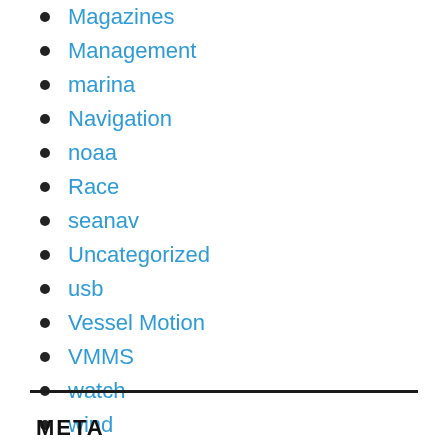Magazines
Management
marina
Navigation
noaa
Race
seanav
Uncategorized
usb
Vessel Motion
VMMS
watch
wind
META